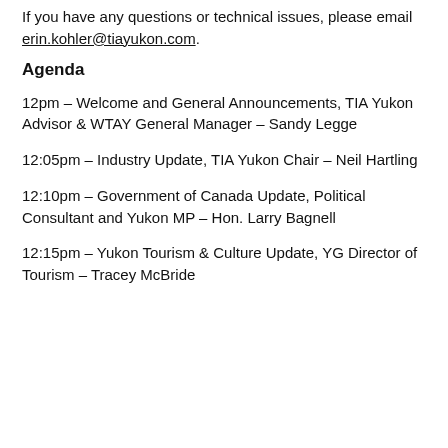If you have any questions or technical issues, please email erin.kohler@tiayukon.com.
Agenda
12pm – Welcome and General Announcements, TIA Yukon Advisor & WTAY General Manager – Sandy Legge
12:05pm – Industry Update, TIA Yukon Chair – Neil Hartling
12:10pm – Government of Canada Update, Political Consultant and Yukon MP – Hon. Larry Bagnell
12:15pm – Yukon Tourism & Culture Update, YG Director of Tourism – Tracey McBride